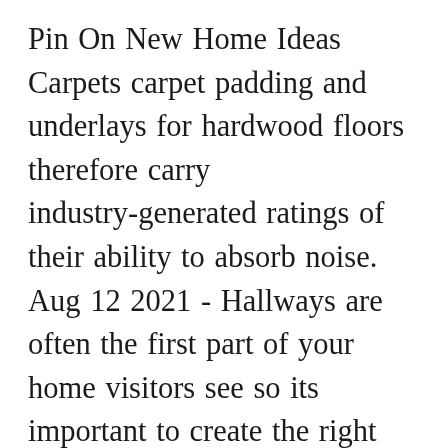Pin On New Home Ideas Carpets carpet padding and underlays for hardwood floors therefore carry industry-generated ratings of their ability to absorb noise. Aug 12 2021 - Hallways are often the first part of your home visitors see so its important to create the right first impression. Wood stairs and upper halls in wood can be noisy especially with shoes on. Original laminate floors were not sound proof. See more ideas about wood floors home upstairs hallway. If both levels use hardwood for example carpeted